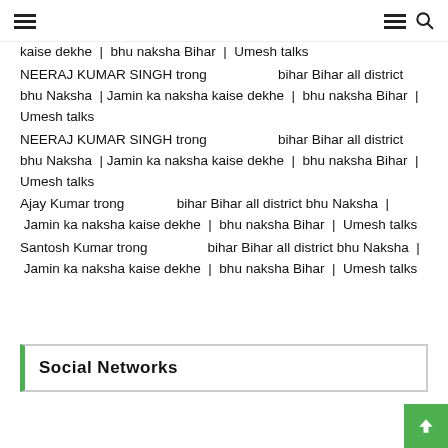hamburger menu | hamburger menu | search icon
kaise dekhe | bhu naksha Bihar | Umesh talks
NEERAJ KUMAR SINGH trong   bihar Bihar all district bhu Naksha | Jamin ka naksha kaise dekhe | bhu naksha Bihar | Umesh talks
NEERAJ KUMAR SINGH trong   bihar Bihar all district bhu Naksha | Jamin ka naksha kaise dekhe | bhu naksha Bihar | Umesh talks
Ajay Kumar trong   bihar Bihar all district bhu Naksha | Jamin ka naksha kaise dekhe | bhu naksha Bihar | Umesh talks
Santosh Kumar trong   bihar Bihar all district bhu Naksha | Jamin ka naksha kaise dekhe | bhu naksha Bihar | Umesh talks
Social Networks